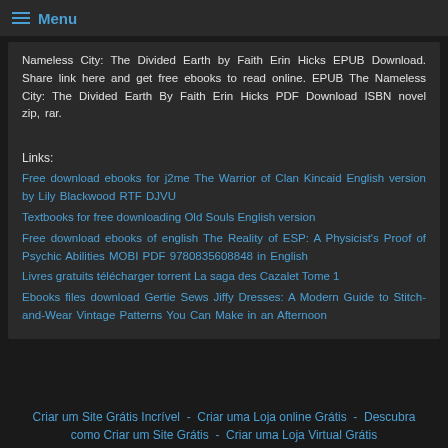Menu
Nameless City: The Divided Earth by Faith Erin Hicks EPUB Download. Share link here and get free ebooks to read online. EPUB The Nameless City: The Divided Earth By Faith Erin Hicks PDF Download ISBN novel zip, rar.
Links:
Free download ebooks for j2me The Warrior of Clan Kincaid English version by Lily Blackwood RTF DJVU
Textbooks for free downloading Old Souls English version
Free download ebooks of english The Reality of ESP: A Physicist's Proof of Psychic Abilities MOBI PDF 9780835608848 in English
Livres gratuits télécharger torrent La saga des Cazalet Tome 1
Ebooks files download Gertie Sews Jiffy Dresses: A Modern Guide to Stitch-and-Wear Vintage Patterns You Can Make in an Afternoon
Criar um Site Grátis Incrível  -  Criar uma Loja online Grátis  -  Descubra como Criar um Site Grátis  -  Criar uma Loja Virtual Grátis